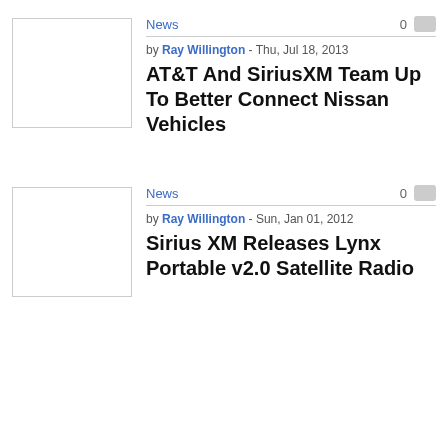News
0
[Figure (photo): Thumbnail image placeholder (white box with light border)]
by Ray Willington - Thu, Jul 18, 2013
AT&T And SiriusXM Team Up To Better Connect Nissan Vehicles
News
0
[Figure (photo): Thumbnail image placeholder (white box with light border)]
by Ray Willington - Sun, Jan 01, 2012
Sirius XM Releases Lynx Portable v2.0 Satellite Radio